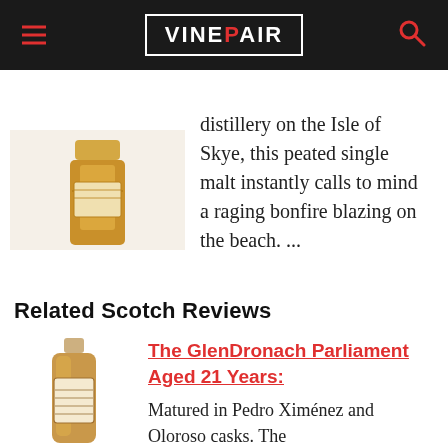VINEPAIR
distillery on the Isle of Skye, this peated single malt instantly calls to mind a raging bonfire blazing on the beach. ...
Related Scotch Reviews
[Figure (photo): Whisky bottle cropped at bottom]
The GlenDronach Parliament Aged 21 Years:
Matured in Pedro Ximénez and Oloroso casks. The